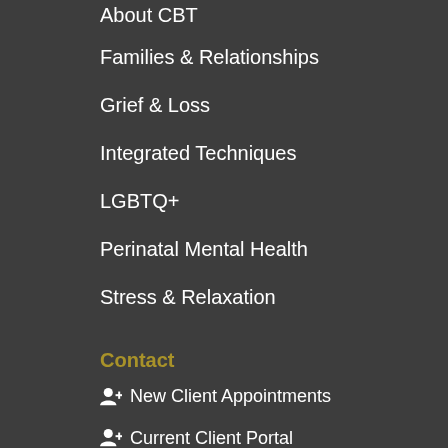About CBT
Families & Relationships
Grief & Loss
Integrated Techniques
LGBTQ+
Perinatal Mental Health
Stress & Relaxation
Contact
New Client Appointments
Current Client Portal
Client Forms
Careers